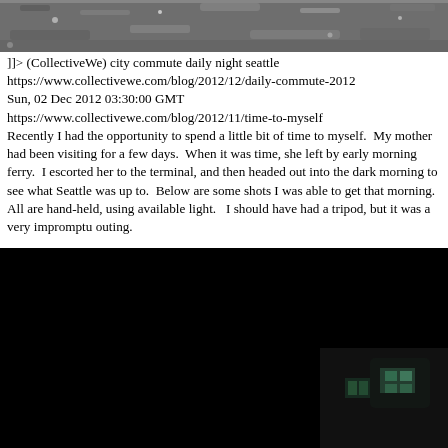[Figure (photo): Grayscale photo at the top of the page, appears to show a textured surface or ground, partial view cropped at top]
]]> (CollectiveWe) city commute daily night seattle
https://www.collectivewe.com/blog/2012/12/daily-commute-2012
Sun, 02 Dec 2012 03:30:00 GMT
https://www.collectivewe.com/blog/2012/11/time-to-myself
Recently I had the opportunity to spend a little bit of time to myself.  My mother had been visiting for a few days.  When it was time, she left by early morning ferry.  I escorted her to the terminal, and then headed out into the dark morning to see what Seattle was up to.  Below are some shots I was able to get that morning.  All are hand-held, using available light.   I should have had a tripod, but it was a very impromptu outing.
[Figure (photo): Dark/night photograph, mostly black with a faint illuminated building or structure visible in the bottom right corner]